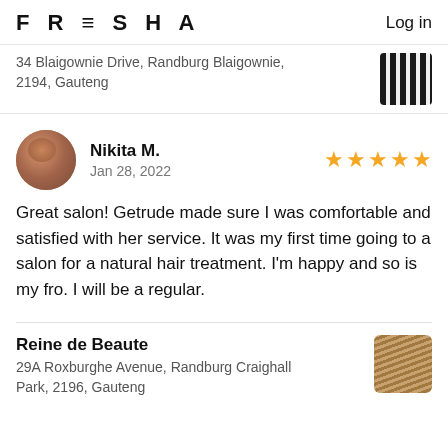FRESHA  Log in
34 Blaigownie Drive, Randburg Blaigownie, 2194, Gauteng
Nikita M.
Jan 28, 2022
★★★★★
Great salon! Getrude made sure I was comfortable and satisfied with her service. It was my first time going to a salon for a natural hair treatment. I'm happy and so is my fro. I will be a regular.
Reine de Beaute
29A Roxburghe Avenue, Randburg Craighall Park, 2196, Gauteng